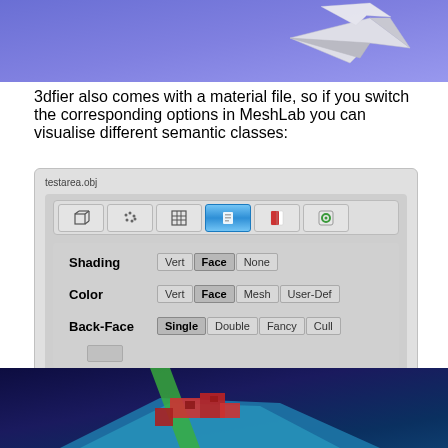[Figure (screenshot): Top portion of 3D city model rendered in purple/blue background with paper airplane shapes visible]
3dfier also comes with a material file, so if you switch the corresponding options in MeshLab you can visualise different semantic classes:
[Figure (screenshot): MeshLab interface screenshot showing testarea.obj file with toolbar icons and rendering options: Shading (Vert, Face, None), Color (Vert, Face, Mesh, User-Def), Back-Face (Single, Double, Fancy, Cull)]
[Figure (screenshot): Bottom portion of 3D city model rendered in dark blue background showing buildings with red roofs and green/blue road paths]